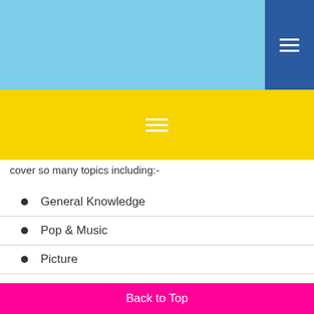cover so many topics including:-
General Knowledge
Pop & Music
Picture
Themed eg. USA theme for July 4th
Geography & Places
Sports
Back to Top